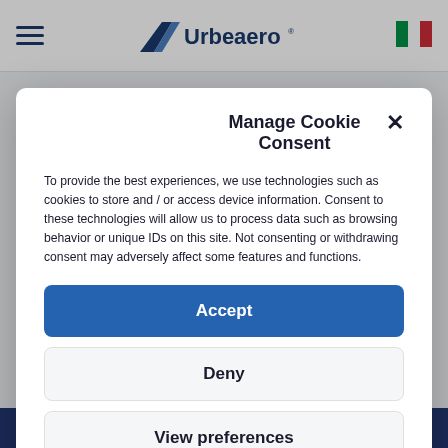message
[Figure (logo): Urbeaero company logo with stylized road/runway perspective graphic and wordmark]
[Figure (illustration): Italian flag icon in top-right corner of navigation bar]
Manage Cookie Consent
To provide the best experiences, we use technologies such as cookies to store and / or access device information. Consent to these technologies will allow us to process data such as browsing behavior or unique IDs on this site. Not consenting or withdrawing consent may adversely affect some features and functions.
Accept
Deny
View preferences
Cookie Policy   Privacy Policy